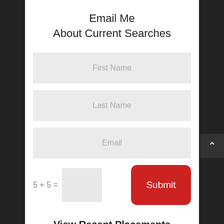Email Me About Current Searches
First Name
Last Name
Email
5 + 5 =
Submit
View Recent Placements